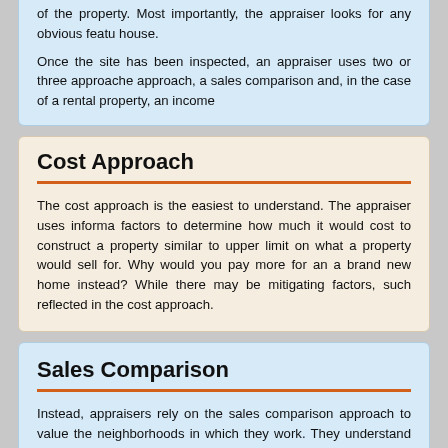of the property. Most importantly, the appraiser looks for any obvious features of the house.
Once the site has been inspected, an appraiser uses two or three approaches: a cost approach, a sales comparison and, in the case of a rental property, an income approach.
Cost Approach
The cost approach is the easiest to understand. The appraiser uses information and other factors to determine how much it would cost to construct a property similar to the one being appraised. upper limit on what a property would sell for. Why would you pay more for an existing home than for a brand new home instead? While there may be mitigating factors, such as location, these are reflected in the cost approach.
Sales Comparison
Instead, appraisers rely on the sales comparison approach to value the neighborhoods in which they work. They understand the value of certain features, traffic patterns, the school zones, the busy throughways; and they use the property will make a difference in the value. Then, the appraiser researches